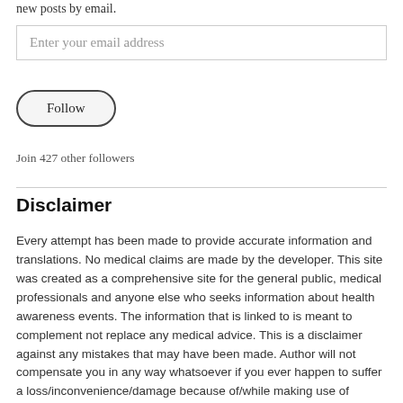new posts by email.
Enter your email address
Follow
Join 427 other followers
Disclaimer
Every attempt has been made to provide accurate information and translations. No medical claims are made by the developer. This site was created as a comprehensive site for the general public, medical professionals and anyone else who seeks information about health awareness events. The information that is linked to is meant to complement not replace any medical advice. This is a disclaimer against any mistakes that may have been made. Author will not compensate you in any way whatsoever if you ever happen to suffer a loss/inconvenience/damage because of/while making use of information available on Privacy/Confidentiality Policy, on this blog or while using it.